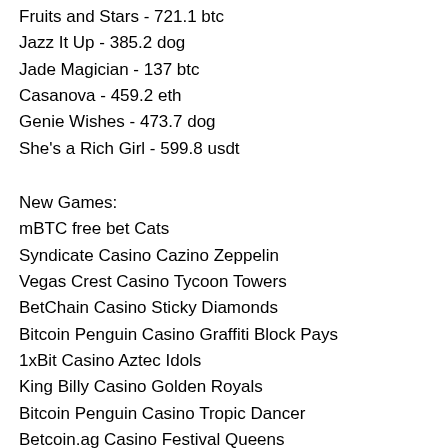Fruits and Stars - 721.1 btc
Jazz It Up - 385.2 dog
Jade Magician - 137 btc
Casanova - 459.2 eth
Genie Wishes - 473.7 dog
She's a Rich Girl - 599.8 usdt
New Games:
mBTC free bet Cats
Syndicate Casino Cazino Zeppelin
Vegas Crest Casino Tycoon Towers
BetChain Casino Sticky Diamonds
Bitcoin Penguin Casino Graffiti Block Pays
1xBit Casino Aztec Idols
King Billy Casino Golden Royals
Bitcoin Penguin Casino Tropic Dancer
Betcoin.ag Casino Festival Queens
Betcoin.ag Casino Girls with Guns Jungle Heat
OneHash Red Dragon vs Blue Dragon
BetChain Casino Catsino